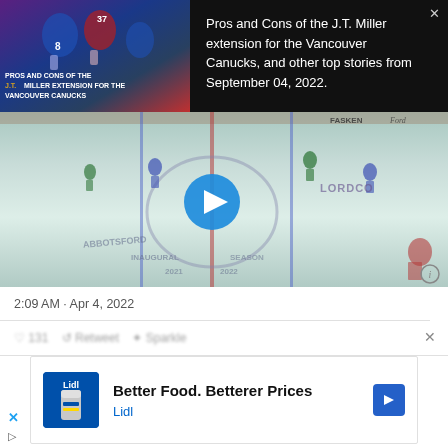[Figure (screenshot): Top dark banner with hockey thumbnail image showing players, overlaid text reads PROS AND CONS OF THE J.T. MILLER EXTENSION FOR THE VANCOUVER CANUCKS. Close X button top right.]
Pros and Cons of the J.T. Miller extension for the Vancouver Canucks, and other top stories from September 04, 2022.
[Figure (screenshot): Hockey rink video screenshot showing players on ice, with a blue circular play button in the center. Rink shows Abbotsford Canucks Inaugural Season 2021-2022 logo. Sponsor banners along boards including FASKEN and Ford.]
2:09 AM · Apr 4, 2022
Better Food. Betterer Prices
Lidl